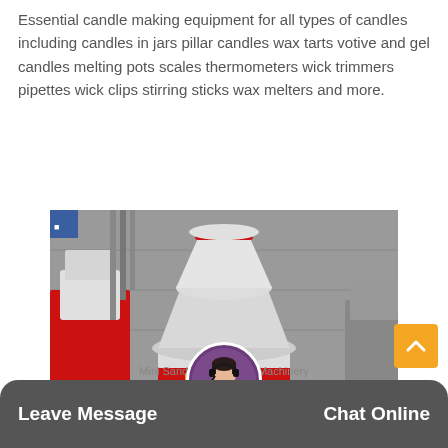Essential candle making equipment for all types of candles including candles in jars pillar candles wax tarts votive and gel candles melting pots scales thermometers wick trimmers pipettes wick clips stirring sticks wax melters and more.
[Figure (photo): Industrial sand making machine (cone crusher / VSI crusher) in red and white paint, standing on red metal frame, inside a factory/warehouse. Two similar machines partially visible on left and right sides.]
Mini Sand Making Plant Machinery
Leave Message   Chat Online